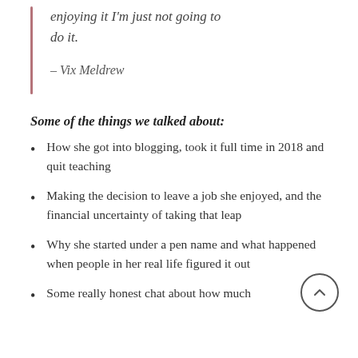enjoying it I'm just not going to do it.
– Vix Meldrew
Some of the things we talked about:
How she got into blogging, took it full time in 2018 and quit teaching
Making the decision to leave a job she enjoyed, and the financial uncertainty of taking that leap
Why she started under a pen name and what happened when people in her real life figured it out
Some really honest chat about how much